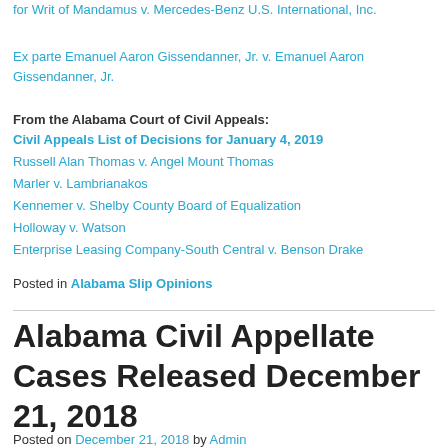for Writ of Mandamus v. Mercedes-Benz U.S. International, Inc.
Ex parte Emanuel Aaron Gissendanner, Jr. v. Emanuel Aaron Gissendanner, Jr.
From the Alabama Court of Civil Appeals:
Civil Appeals List of Decisions for January 4, 2019
Russell Alan Thomas v. Angel Mount Thomas
Marler v. Lambrianakos
Kennemer v. Shelby County Board of Equalization
Holloway v. Watson
Enterprise Leasing Company-South Central v. Benson Drake
Posted in Alabama Slip Opinions
Alabama Civil Appellate Cases Released December 21, 2018
Posted on December 21, 2018 by Admin